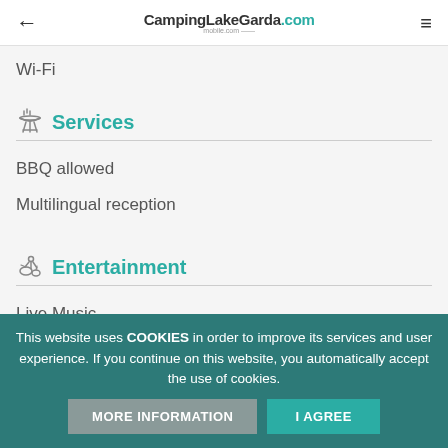← CampingLakeGarda.com ≡
Wi-Fi
Services
BBQ allowed
Multilingual reception
Entertainment
Live Music
Piano bar
This website uses COOKIES in order to improve its services and user experience. If you continue on this website, you automatically accept the use of cookies. MORE INFORMATION I AGREE